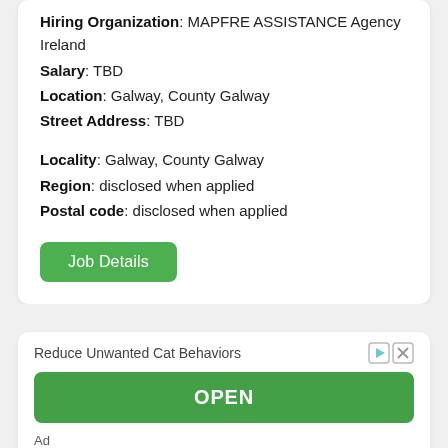Hiring Organization: MAPFRE ASSISTANCE Agency Ireland
Salary: TBD
Location: Galway, County Galway
Street Address: TBD
Locality: Galway, County Galway
Region: disclosed when applied
Postal code: disclosed when applied
Job Details
Reduce Unwanted Cat Behaviors
OPEN
Ad